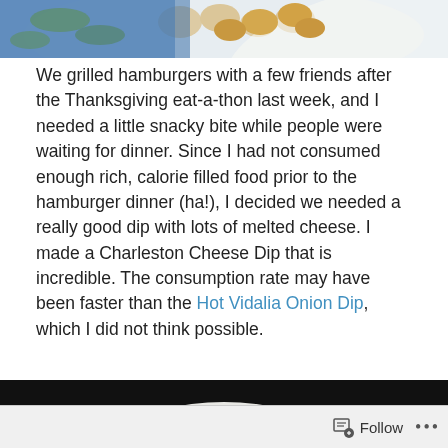[Figure (photo): Partial view of a plate with food items on a decorative blue and white plate, cropped at top of page]
We grilled hamburgers with a few friends after the Thanksgiving eat-a-thon last week, and I needed a little snacky bite while people were waiting for dinner. Since I had not consumed enough rich, calorie filled food prior to the hamburger dinner (ha!), I decided we needed a really good dip with lots of melted cheese. I made a Charleston Cheese Dip that is incredible. The consumption rate may have been faster than the Hot Vidalia Onion Dip, which I did not think possible.
[Figure (photo): Bowl of Charleston Cheese Dip on a dark background, showing a white bowl filled with melted cheese dip]
Follow ...